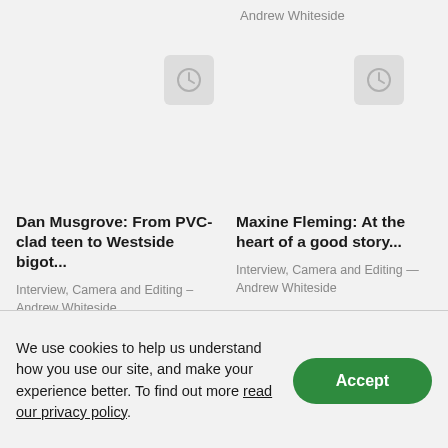Andrew Whiteside
[Figure (other): Clock/time placeholder thumbnail image]
[Figure (other): Clock/time placeholder thumbnail image]
Dan Musgrove: From PVC-clad teen to Westside bigot...
Interview, Camera and Editing – Andrew Whiteside
Maxine Fleming: At the heart of a good story...
Interview, Camera and Editing — Andrew Whiteside
We use cookies to help us understand how you use our site, and make your experience better. To find out more read our privacy policy.